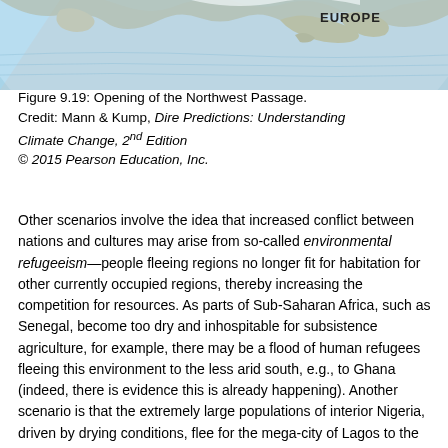[Figure (map): Partial globe map showing Europe label, depicting arctic/northern region relevant to Northwest Passage opening.]
Figure 9.19: Opening of the Northwest Passage. Credit: Mann & Kump, Dire Predictions: Understanding Climate Change, 2nd Edition © 2015 Pearson Education, Inc.
Other scenarios involve the idea that increased conflict between nations and cultures may arise from so-called environmental refugeeism—people fleeing regions no longer fit for habitation for other currently occupied regions, thereby increasing the competition for resources. As parts of Sub-Saharan Africa, such as Senegal, become too dry and inhospitable for subsistence agriculture, for example, there may be a flood of human refugees fleeing this environment to the less arid south, e.g., to Ghana (indeed, there is evidence this is already happening). Another scenario is that the extremely large populations of interior Nigeria, driven by drying conditions, flee for the mega-city of Lagos to the south, where there is heightened competition for food and water resources. Adding to the incendiary mix is the skirmishes that might break out among groups and individuals fighting over the last remains of the disappearing oil reserves of the Niger River Delta, and the cronyism and political corruption that